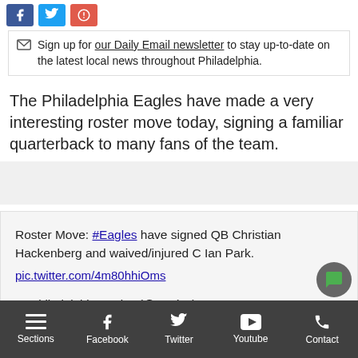[Figure (other): Social share buttons: Facebook (blue), Twitter (light blue), Email/Google+ (red)]
Sign up for our Daily Email newsletter to stay up-to-date on the latest local news throughout Philadelphia.
The Philadelphia Eagles have made a very interesting roster move today, signing a familiar quarterback to many fans of the team.
[Figure (other): Advertisement placeholder (light grey box)]
Roster Move: #Eagles have signed QB Christian Hackenberg and waived/injured C Ian Park. pic.twitter.com/4m80hhiOms
— Philadelphia Eagles (@Eagles) August 12, 2018
Sections | Facebook | Twitter | Youtube | Contact